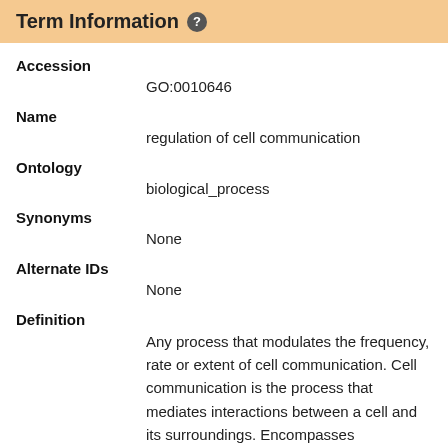Term Information
Accession
GO:0010646
Name
regulation of cell communication
Ontology
biological_process
Synonyms
None
Alternate IDs
None
Definition
Any process that modulates the frequency, rate or extent of cell communication. Cell communication is the process that mediates interactions between a cell and its surroundings. Encompasses interactions such as signaling or attachment between one cell and another cell, between a cell and an extracellular matrix, or between a cell and any other aspect of its environment. Source: